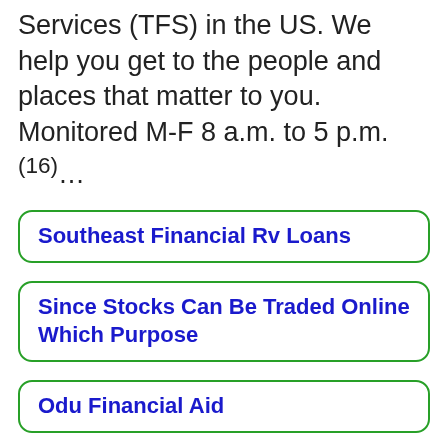Services (TFS) in the US. We help you get to the people and places that matter to you. Monitored M-F 8 a.m. to 5 p.m. (16)...
Southeast Financial Rv Loans
Since Stocks Can Be Traded Online Which Purpose
Odu Financial Aid
6. 75 Years of TOYOTA | Financial Services | Overview
YearMonthEvents1982JuneToyota